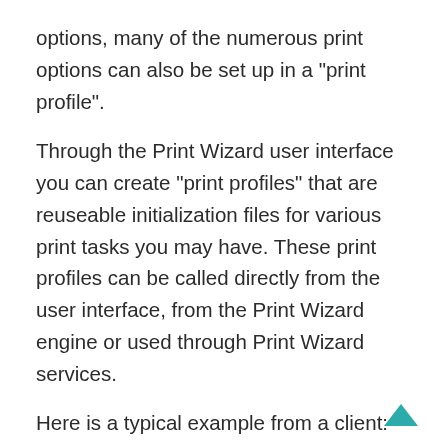options, many of the numerous print options can also be set up in a "print profile".
Through the Print Wizard user interface you can create "print profiles" that are reuseable initialization files for various print tasks you may have. These print profiles can be called directly from the user interface, from the Print Wizard engine or used through Print Wizard services.
Here is a typical example from a client:
Print Wizard Server Edition is used to establish an LPD service. With LPD the customer builds a series of "printer queues"